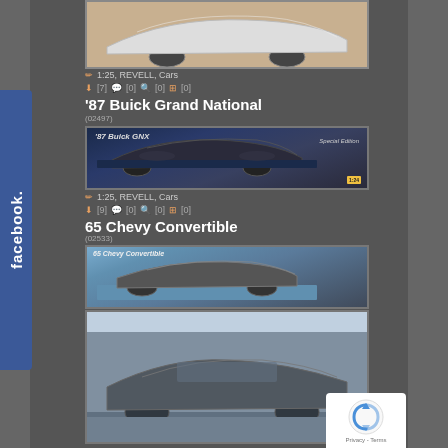[Figure (photo): Partial car model photo at top, light colored vehicle]
1:25, REVELL, Cars
[7] [0] [0] [0]
'87 Buick Grand National
(02497)
[Figure (photo): Model kit box art for 1987 Buick GNX, dark colored muscle car on racing background]
1:25, REVELL, Cars
[9] [0] [0] [0]
65 Chevy Convertible
(02533)
[Figure (photo): Model kit box art for 1965 Chevy Convertible, dark classic car photographed outdoors]